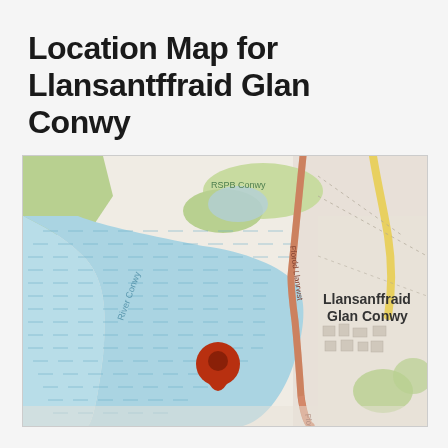Location Map for Llansantffraid Glan Conwy
[Figure (map): OpenStreetMap-style location map showing Llansantffraid Glan Conwy, Wales. The map shows River Conwy (large water body with blue hatching on the left), RSPB Conwy nature reserve (top center), Ffordd Llanrwst road (running vertically through center-right), and the village of Llansantffraid Glan Conwy labeled on the right side. A red location pin marker is placed in the river area near the village. Green areas indicate parkland/vegetation. A yellow road curves through the top right.]